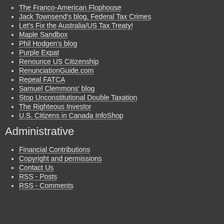The Franco-American Flophouse
Jack Townsend's blog, Federal Tax Crimes
Let's Fix the Australia/US Tax Treaty!
Maple Sandbox
Phil Hodgen's blog
Purple Expat
Renounce US Citizenship
RenunciationGuide.com
Repeal FATCA
Samuel Clemmons' blog
Stop Unconstitutional Double Taxation
The Righteous Investor
U.S. Citizens in Canada InfoShop
Administrative
Financial Contributions
Copyright and permissions
Contact Us
RSS - Posts
RSS - Comments